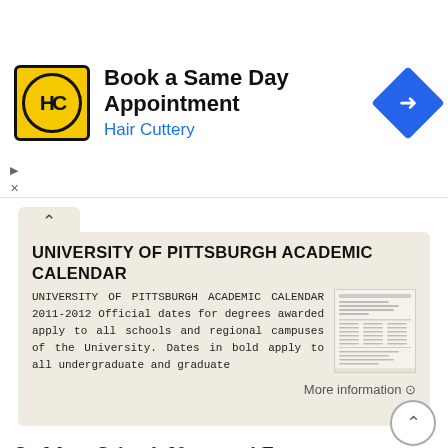[Figure (screenshot): Hair Cuttery advertisement banner with yellow logo, 'Book a Same Day Appointment' text, and blue navigation icon]
UNIVERSITY OF PITTSBURGH ACADEMIC CALENDAR
UNIVERSITY OF PITTSBURGH ACADEMIC CALENDAR 2011-2012 Official dates for degrees awarded apply to all schools and regional campuses of the University. Dates in bold apply to all undergraduate and graduate
More information →
St. Mary School. News and Events. https://online.factsmgt.com/signin/3m Q8f. Summer is Here!
News and Events St. Mary School 2510 —